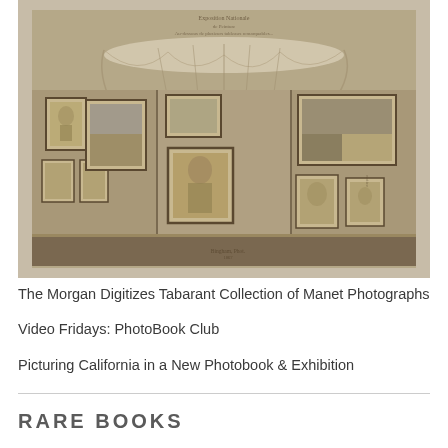[Figure (photo): Sepia-toned antique photograph of an art exhibition wall displaying multiple framed paintings and portraits, with draped fabric at top and a display shelf/table at bottom. Handwritten inscription visible at top of the photograph card.]
The Morgan Digitizes Tabarant Collection of Manet Photographs
Video Fridays: PhotoBook Club
Picturing California in a New Photobook & Exhibition
RARE BOOKS